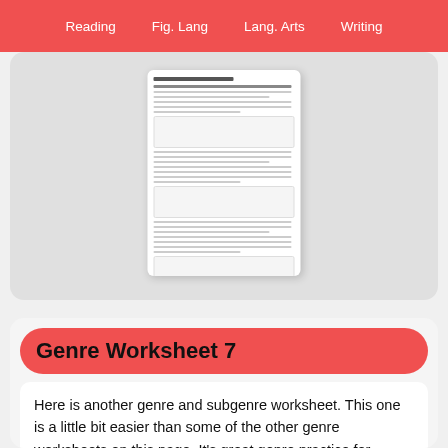Reading   Fig. Lang   Lang. Arts   Writing
[Figure (screenshot): Preview thumbnail of a Genre and Subgenre Worksheet with multiple reading passages and answer lines]
Genre Worksheet 7
Here is another genre and subgenre worksheet. This one is a little bit easier than some of the other genre worksheets on this page. It's great genre practice for younger students. Students read the short texts,